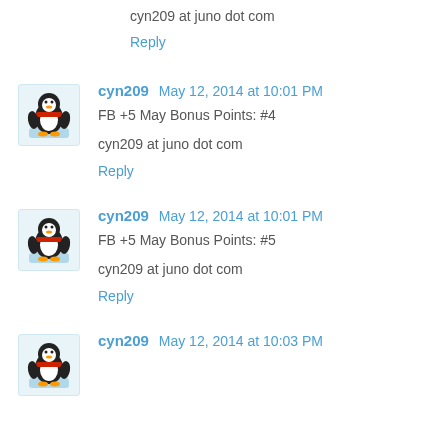cyn209 at juno dot com
Reply
cyn209  May 12, 2014 at 10:01 PM
FB +5 May Bonus Points: #4
cyn209 at juno dot com
Reply
cyn209  May 12, 2014 at 10:01 PM
FB +5 May Bonus Points: #5
cyn209 at juno dot com
Reply
cyn209  May 12, 2014 at 10:03 PM